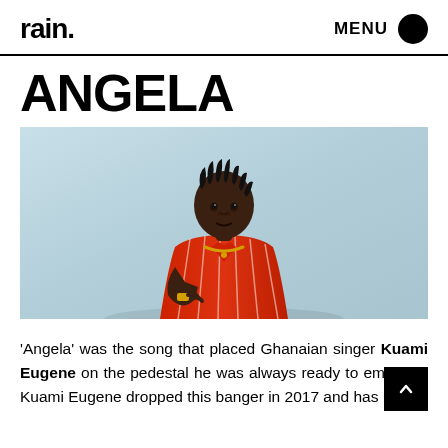rain. MENU
ANGELA
[Figure (photo): Portrait photo of Kuami Eugene, a Ghanaian singer, wearing a red striped short-sleeve shirt and gold chain necklace, posed against a light blue background.]
'Angela' was the song that placed Ghanaian singer Kuami Eugene on the pedestal he was always ready to embrace. Kuami Eugene dropped this banger in 2017 and has